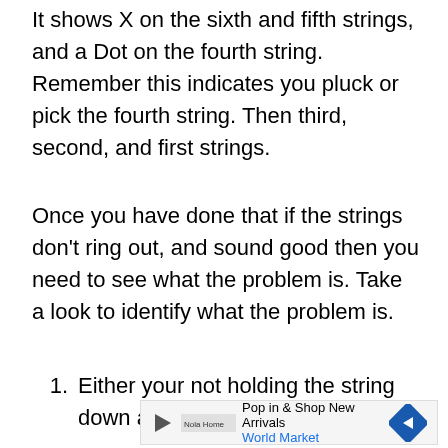It shows X on the sixth and fifth strings, and a Dot on the fourth string. Remember this indicates you pluck or pick the fourth string. Then third, second, and first strings.
Once you have done that if the strings don't ring out, and sound good then you need to see what the problem is. Take a look to identify what the problem is.
1. Either your not holding the string down all
[Figure (other): Advertisement banner: Pop in & Shop New Arrivals, World Market, with play button icon and navigation arrow logo]